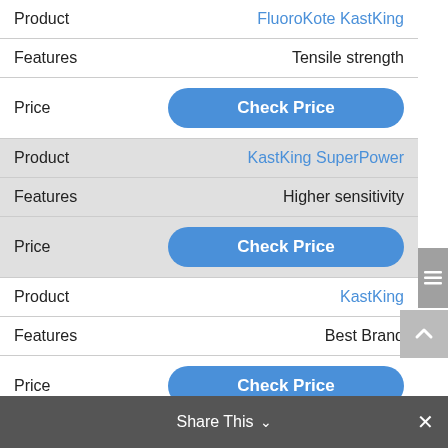|  |  |
| --- | --- |
| Product | FluoroKote KastKing |
| Features | Tensile strength |
| Price | Check Price |
| Product | KastKing SuperPower |
| Features | Higher sensitivity |
| Price | Check Price |
| Product | KastKing |
| Features | Best Brand |
| Price | Check Price |
| Product | Braided Virtually Bulletproof Power Pro |
Share This